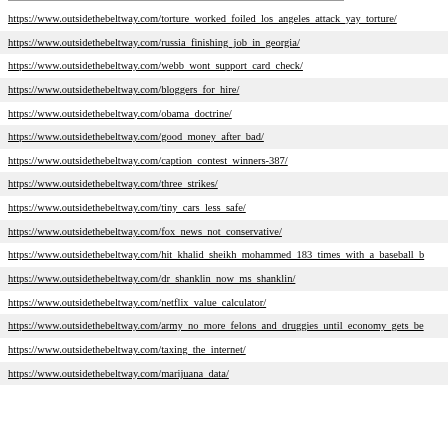https://www.outsidethebeltway.com/torture_worked_foiled_los_angeles_attack_yay_torture/
https://www.outsidethebeltway.com/russia_finishing_job_in_georgia/
https://www.outsidethebeltway.com/webb_wont_support_card_check/
https://www.outsidethebeltway.com/bloggers_for_hire/
https://www.outsidethebeltway.com/obama_doctrine/
https://www.outsidethebeltway.com/good_money_after_bad/
https://www.outsidethebeltway.com/caption_contest_winners-387/
https://www.outsidethebeltway.com/three_strikes/
https://www.outsidethebeltway.com/tiny_cars_less_safe/
https://www.outsidethebeltway.com/fox_news_not_conservative/
https://www.outsidethebeltway.com/hit_khalid_sheikh_mohammed_183_times_with_a_baseball_b
https://www.outsidethebeltway.com/dr_shanklin_now_ms_shanklin/
https://www.outsidethebeltway.com/netflix_value_calculator/
https://www.outsidethebeltway.com/army_no_more_felons_and_druggies_until_economy_gets_be
https://www.outsidethebeltway.com/taxing_the_internet/
https://www.outsidethebeltway.com/marijuana_data/